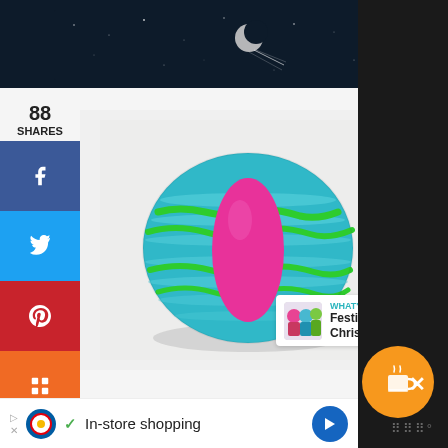[Figure (screenshot): Website screenshot showing a painted rock craft. Top dark banner with space/moon imagery. Left sidebar with social share buttons (Facebook, Twitter, Pinterest, Mix) showing 88 shares. Main image: a round rock painted teal/turquoise with horizontal green and light stripes and a large pink/magenta oval in the center. Right side has heart (90 likes) and share action buttons. 'What's Next' card showing 'Festive Christmas...' Bottom shows coffee icon overlay and an ad banner for Lidl 'In-store shopping'.]